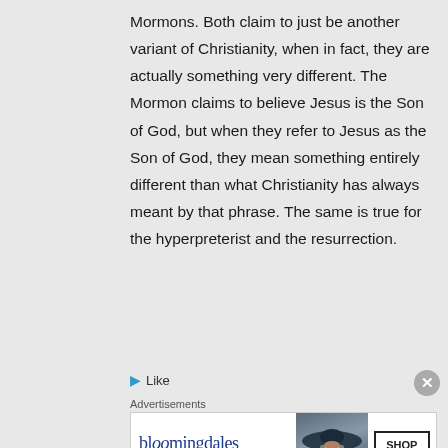Mormons. Both claim to just be another variant of Christianity, when in fact, they are actually something very different. The Mormon claims to believe Jesus is the Son of God, but when they refer to Jesus as the Son of God, they mean something entirely different than what Christianity has always meant by that phrase. The same is true for the hyperpreterist and the resurrection.
Like
Advertisements
[Figure (other): Bloomingdale's advertisement banner with logo, 'View Today's Top Deals!' tagline, image of woman in hat, and 'SHOP NOW >' button]